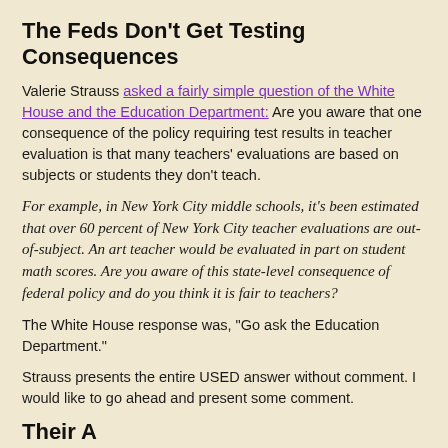The Feds Don't Get Testing Consequences
Valerie Strauss asked a fairly simple question of the White House and the Education Department: Are you aware that one consequence of the policy requiring test results in teacher evaluation is that many teachers' evaluations are based on subjects or students they don't teach.
For example, in New York City middle schools, it's been estimated that over 60 percent of New York City teacher evaluations are out-of-subject. An art teacher would be evaluated in part on student math scores.  Are you aware of this state-level consequence of federal policy and do you think it is fair to teachers?
The White House response was, "Go ask the Education Department."
Strauss presents the entire USED answer without comment. I would like to go ahead and present some comment.
Their Answer